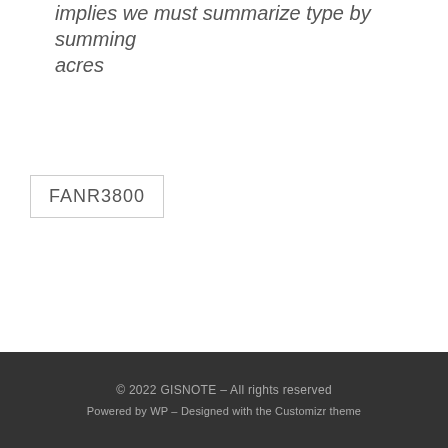implies we must summarize type by summing acres
FANR3800
© 2022 GISNOTE – All rights reserved
Powered by WP – Designed with the Customizr theme